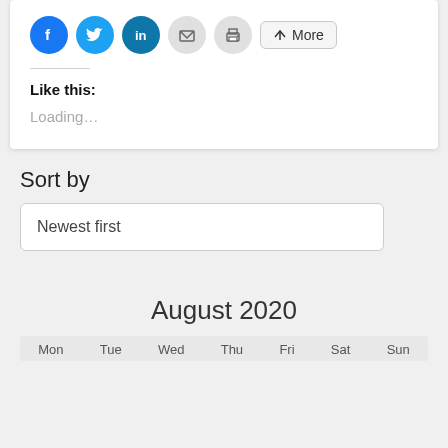[Figure (screenshot): Social share icons: Facebook (blue circle), Twitter (light blue circle), LinkedIn (teal circle), Email (grey circle), Print (grey circle), and a More button with share icon]
Like this:
Loading...
Sort by
Newest first
August 2020
Mon  Tue  Wed  Thu  Fri  Sat  Sun